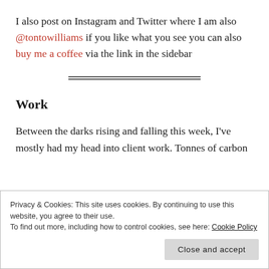I also post on Instagram and Twitter where I am also @tontowilliams if you like what you see you can also buy me a coffee via the link in the sidebar
Work
Between the darks rising and falling this week, I've mostly had my head into client work. Tonnes of carbon
Privacy & Cookies: This site uses cookies. By continuing to use this website, you agree to their use.
To find out more, including how to control cookies, see here: Cookie Policy
Close and accept